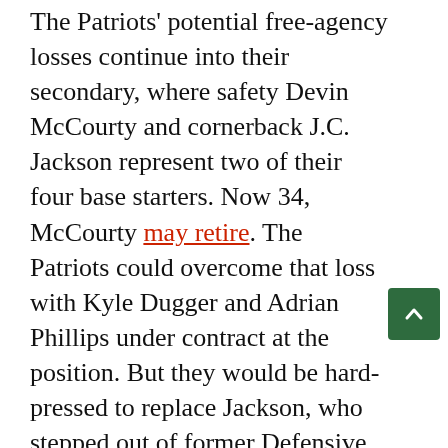The Patriots' potential free-agency losses continue into their secondary, where safety Devin McCourty and cornerback J.C. Jackson represent two of their four base starters. Now 34, McCourty may retire. The Patriots could overcome that loss with Kyle Dugger and Adrian Phillips under contract at the position. But they would be hard-pressed to replace Jackson, who stepped out of former Defensive Player of the Year Stephon Gilmore's shadow to become a second-team All-Pro corner in 2021 with 6.2 yards allowed per target and a 61.9% coverage success rate, both in the top 25 among qualified corners despite consistently difficult defensive assignments. And while he does not seem to share any of his predecessor's eventual grievances with his front office, Jackson will command a top-of-position contract at just 26 years old that could price the Patriots out of his market. Of course, the Patriots could also franchise-tag Jackson at about